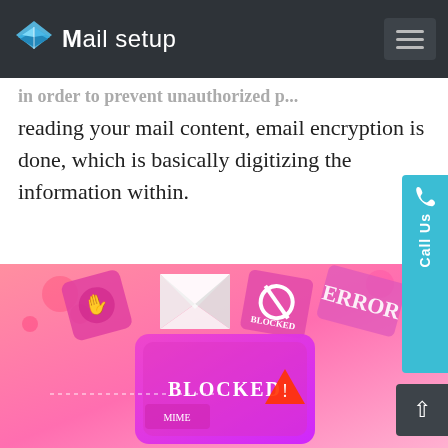Mail setup
reading your mail content, email encryption is done, which is basically digitizing the information within.
[Figure (illustration): Pink and magenta isometric illustration of a smartphone with email security icons — blocked emails, error messages, spam icons floating around the device on a pink background.]